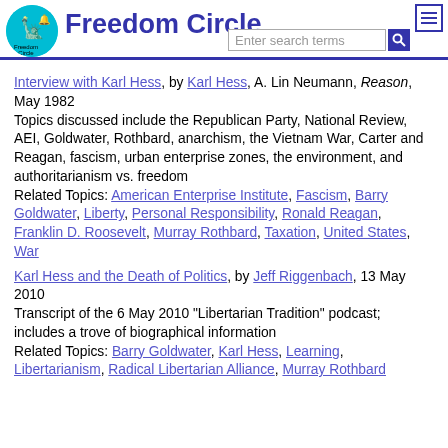Freedom Circle
Interview with Karl Hess, by Karl Hess, A. Lin Neumann, Reason, May 1982
Topics discussed include the Republican Party, National Review, AEI, Goldwater, Rothbard, anarchism, the Vietnam War, Carter and Reagan, fascism, urban enterprise zones, the environment, and authoritarianism vs. freedom
Related Topics: American Enterprise Institute, Fascism, Barry Goldwater, Liberty, Personal Responsibility, Ronald Reagan, Franklin D. Roosevelt, Murray Rothbard, Taxation, United States, War
Karl Hess and the Death of Politics, by Jeff Riggenbach, 13 May 2010
Transcript of the 6 May 2010 "Libertarian Tradition" podcast; includes a trove of biographical information
Related Topics: Barry Goldwater, Karl Hess, Learning, Libertarianism, Radical Libertarian Alliance, Murray Rothbard